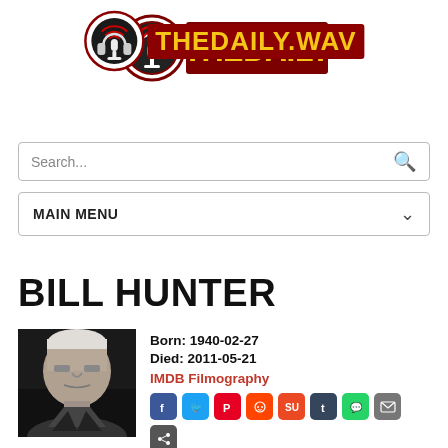THEDAILY.WAV logo
Search...
MAIN MENU
BILL HUNTER
[Figure (photo): Black and white photo of Bill Hunter, an older man with white/grey hair]
Born: 1940-02-27
Died: 2011-05-21
IMDB Filmography